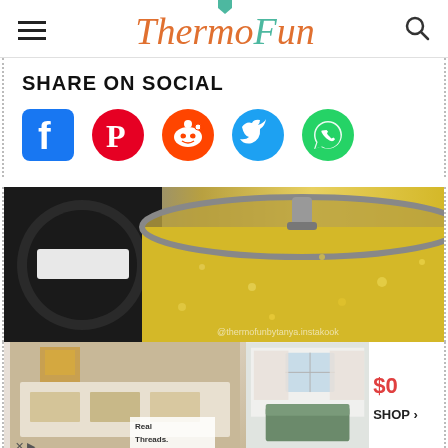ThermoFun
SHARE ON SOCIAL
[Figure (infographic): Social sharing icons: Facebook (blue), Pinterest (red), Reddit (orange-red), Twitter (blue bird), WhatsApp (green)]
[Figure (photo): Close-up photo of an open glass jar with a metal latch clip containing yellow crystalline substance (likely ghee or butter), with a black Thermomix bowl visible in the background]
[Figure (photo): Advertisement strip showing two home/lifestyle photos side by side, with a price tag of $0 and a SHOP button]